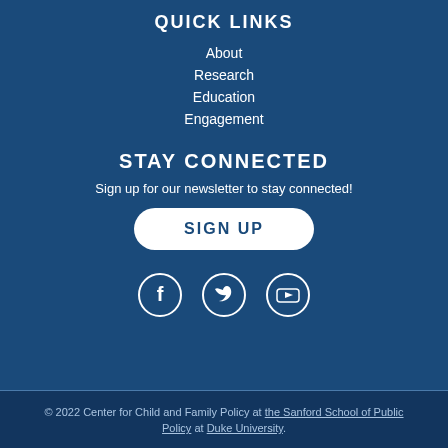QUICK LINKS
About
Research
Education
Engagement
STAY CONNECTED
Sign up for our newsletter to stay connected!
SIGN UP
[Figure (illustration): Social media icons: Facebook, Twitter, YouTube in white circular outlines]
© 2022 Center for Child and Family Policy at the Sanford School of Public Policy at Duke University.